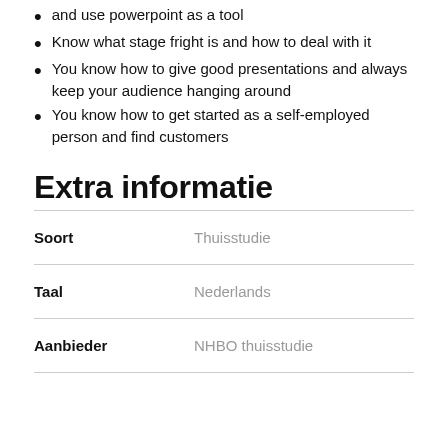and use powerpoint as a tool
Know what stage fright is and how to deal with it
You know how to give good presentations and always keep your audience hanging around
You know how to get started as a self-employed person and find customers
Extra informatie
| Soort | Thuisstudie |
| --- | --- |
| Taal | Nederlands |
| Aanbieder | NHBO thuisstudie |